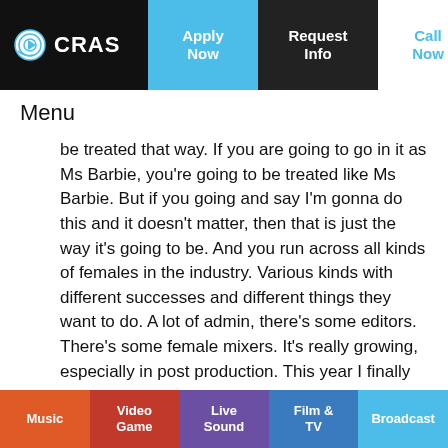CRAS | Apply Now | Request Info | Call Now
Menu
be treated that way. If you are going to go in it as Ms Barbie, you're going to be treated like Ms Barbie. But if you going and say I'm gonna do this and it doesn't matter, then that is just the way it's going to be. And you run across all kinds of females in the industry. Various kinds with different successes and different things they want to do. A lot of admin, there's some editors. There's some female mixers. It's really growing, especially in post production. This year I finally got to supervise a short film, and the whole crew were female. Even the director. So that was the first time in the almost eight years I
Music | Video Game | Live Sound | Film & TV | Broadcast